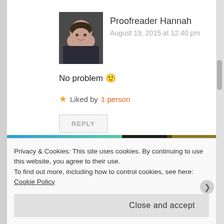Proofreader Hannah
August 19, 2015 at 12:40 pm
No problem 🙂
★ Liked by 1 person
REPLY
[Figure (photo): Advertisement banner with 'stories.' text on blue-green gradient background and a person in yellow jacket on dark background]
Privacy & Cookies: This site uses cookies. By continuing to use this website, you agree to their use.
To find out more, including how to control cookies, see here: Cookie Policy
Close and accept